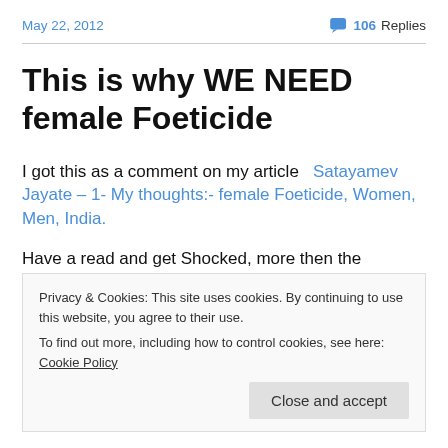May 22, 2012
106 Replies
This is why WE NEED female Foeticide
I got this as a comment on my article  Satayamev Jayate – 1- My thoughts:- female Foeticide, Women, Men, India.
Have a read and get Shocked, more then the program
Privacy & Cookies: This site uses cookies. By continuing to use this website, you agree to their use.
To find out more, including how to control cookies, see here: Cookie Policy